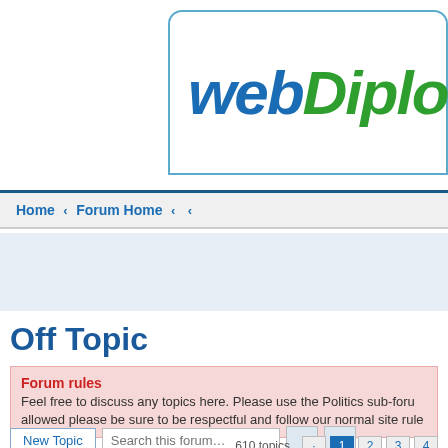[Figure (logo): webDiplo logo — 'web' in blue italic bold, 'Diplo' in green italic bold, inside a rounded rectangle border]
Home ‹ Forum Home ‹ ‹
Off Topic
Forum rules
Feel free to discuss any topics here. Please use the Politics sub-forum allowed please be sure to be respectful and follow our normal site rule
New Topic   Search this forum…